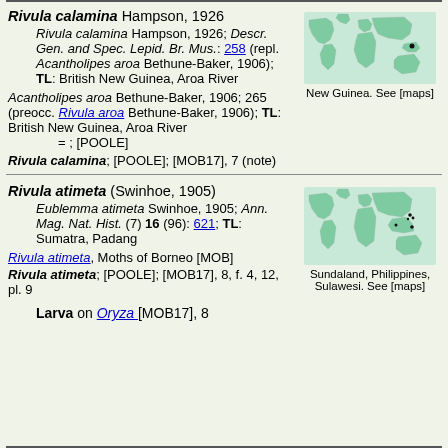Rivula calamina Hampson, 1926 — Rivula calamina Hampson, 1926; Descr. Gen. and Spec. Lepid. Br. Mus.: 258 (repl. Acantholipes aroa Bethune-Baker, 1906); TL: British New Guinea, Aroa River — Acantholipes aroa Bethune-Baker, 1906; 265 (preocc. Rivula aroa Bethune-Baker, 1906); TL: British New Guinea, Aroa River — = ; [POOLE] — Rivula calamina; [POOLE]; [MOB17], 7 (note)
[Figure (map): World map showing distribution in New Guinea region]
New Guinea. See [maps]
Rivula atimeta (Swinhoe, 1905) — Eublemma atimeta Swinhoe, 1905; Ann. Mag. Nat. Hist. (7) 16 (96): 621; TL: Sumatra, Padang — Rivula atimeta, Moths of Borneo [MOB] — Rivula atimeta; [POOLE]; [MOB17], 8, f. 4, 12, pl. 9
[Figure (map): World map showing distribution in Sundaland, Philippines, Sulawesi region]
Sundaland, Philippines, Sulawesi. See [maps]
Larva on Oryza [MOB17], 8